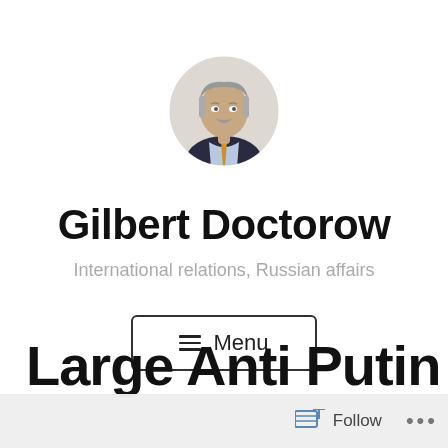[Figure (photo): Circular profile photo of Gilbert Doctorow, a middle-aged man in a dark suit with a gold/orange tie, gray hair and mustache, positioned at the top center of the page]
Gilbert Doctorow
International relations, Russian affairs
☰ Menu
Large Anti Putin